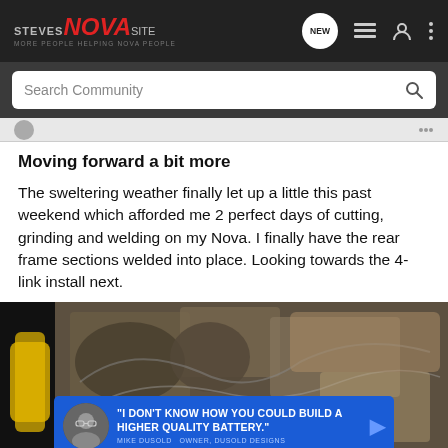STEVES NOVA SITE — MORE PEOPLE HELPING NOVA PEOPLE
Search Community
Moving forward a bit more
The sweltering weather finally let up a little this past weekend which afforded me 2 perfect days of cutting, grinding and welding on my Nova. I finally have the rear frame sections welded into place. Looking towards the 4-link install next.
[Figure (photo): Close-up photo of welded rear frame sections on a Nova vehicle, showing metal fabrication work. An advertisement overlay reads: "I DON'T KNOW HOW YOU COULD BUILD A HIGHER QUALITY BATTERY." — MIKE DUSOLD, OWNER, DUSOLD DESIGNS]
"I DON'T KNOW HOW YOU COULD BUILD A HIGHER QUALITY BATTERY." — MIKE DUSOLD  OWNER, DUSOLD DESIGNS